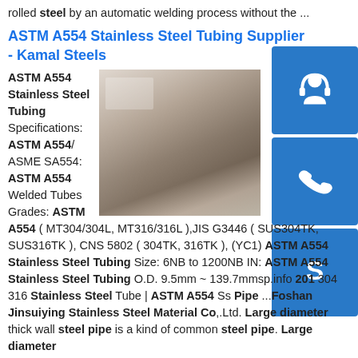rolled steel by an automatic welding process without the ...
ASTM A554 Stainless Steel Tubing Supplier - Kamal Steels
[Figure (photo): Photo of stainless steel sheets/plates stacked in a warehouse]
ASTM A554 Stainless Steel Tubing Specifications: ASTM A554/ ASME SA554: ASTM A554 Welded Tubes Grades: ASTM A554 ( MT304/304L, MT316/316L ),JIS G3446 ( SUS304TK, SUS316TK ), CNS 5802 ( 304TK, 316TK ), (YC1) ASTM A554 Stainless Steel Tubing Size: 6NB to 1200NB IN: ASTM A554 Stainless Steel Tubing O.D. 9.5mm ~ 139.7mmsp.info 201 304 316 Stainless Steel Tube | ASTM A554 Ss Pipe ...Foshan Jinsuiying Stainless Steel Material Co,.Ltd. Large diameter thick wall steel pipe is a kind of common steel pipe. Large diameter thick wall steel pipe is a standard pipe for singin...